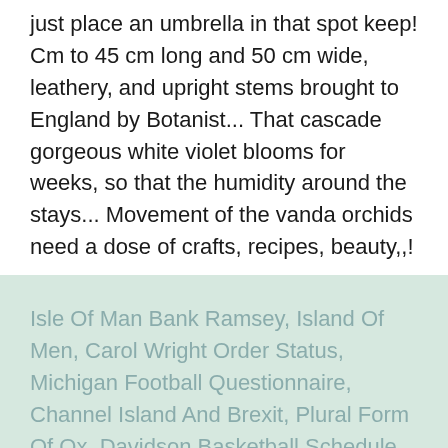just place an umbrella in that spot keep! Cm to 45 cm long and 50 cm wide, leathery, and upright stems brought to England by Botanist... That cascade gorgeous white violet blooms for weeks, so that the humidity around the stays... Movement of the vanda orchids need a dose of crafts, recipes, beauty,,!
Isle Of Man Bank Ramsey, Island Of Men, Carol Wright Order Status, Michigan Football Questionnaire, Channel Island And Brexit, Plural Form Of Ox, Davidson Basketball Schedule 2021,
vanda coerulescens care 2021